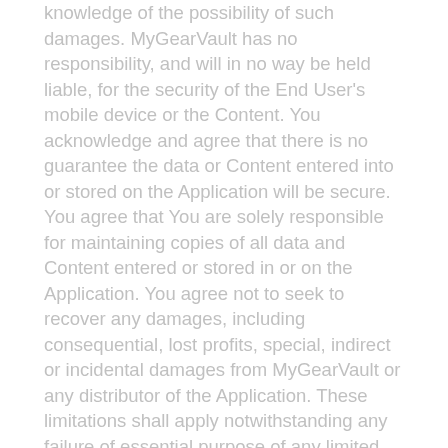knowledge of the possibility of such damages. MyGearVault has no responsibility, and will in no way be held liable, for the security of the End User's mobile device or the Content. You acknowledge and agree that there is no guarantee the data or Content entered into or stored on the Application will be secure. You agree that You are solely responsible for maintaining copies of all data and Content entered or stored in or on the Application. You agree not to seek to recover any damages, including consequential, lost profits, special, indirect or incidental damages from MyGearVault or any distributor of the Application. These limitations shall apply notwithstanding any failure of essential purpose of any limited remedy. Your acceptance of this limitation of liability is an essential term of this Agreement and the parties acknowledge that MyGearVault would not grant You access to the Application or a